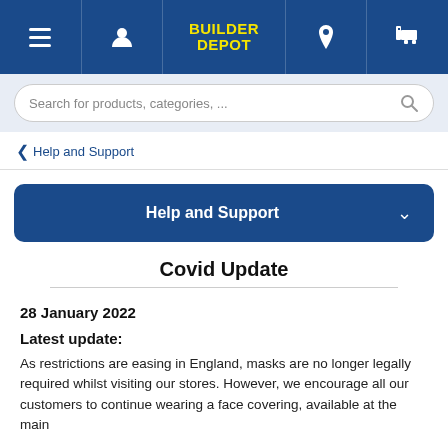[Figure (screenshot): Builder Depot website navigation bar with hamburger menu, user icon, Builder Depot logo in yellow, location pin icon, and cart icon on dark blue background]
[Figure (screenshot): Search bar with placeholder text 'Search for products, categories, ...' and magnifying glass icon]
Help and Support
Help and Support
Covid Update
28 January 2022
Latest update:
As restrictions are easing in England, masks are no longer legally required whilst visiting our stores. However, we encourage all our customers to continue wearing a face covering, available at the main